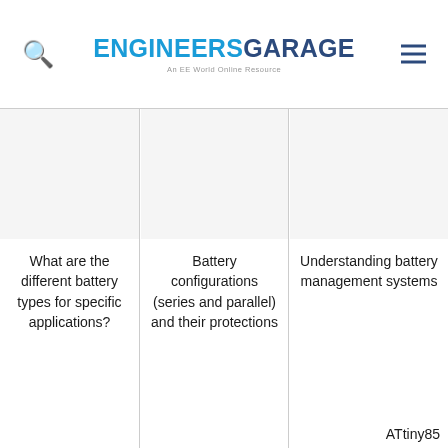ENGINEERSGARAGE – An EE World Online Resource
What are the different battery types for specific applications?
Battery configurations (series and parallel) and their protections
Understanding battery management systems
ATtiny85